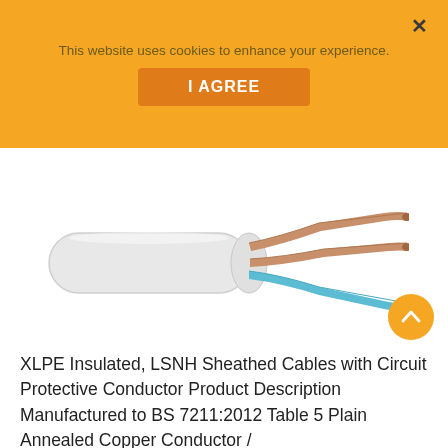This website uses cookies to enhance your experience.
I AGREE
[Figure (photo): XLPE insulated LSNH sheathed flat cable with circuit protective conductor, showing white flat sheath on the left and three conductors fanning out on the right: two brown conductors and one blue conductor.]
XLPE Insulated, LSNH Sheathed Cables with Circuit Protective Conductor Product Description Manufactured to BS 7211:2012 Table 5 Plain Annealed Copper Conductor /